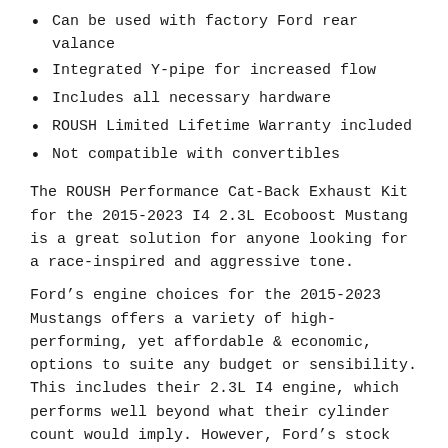Can be used with factory Ford rear valance
Integrated Y-pipe for increased flow
Includes all necessary hardware
ROUSH Limited Lifetime Warranty included
Not compatible with convertibles
The ROUSH Performance Cat-Back Exhaust Kit for the 2015-2023 I4 2.3L Ecoboost Mustang is a great solution for anyone looking for a race-inspired and aggressive tone.
Ford’s engine choices for the 2015-2023 Mustangs offers a variety of high-performing, yet affordable & economic, options to suite any budget or sensibility. This includes their 2.3L I4 engine, which performs well beyond what their cylinder count would imply. However, Ford’s stock exhaust doesn’t quite have the aggressive tone or sound Mustang owners crave; this is where ROUSH Performance excels!
ROUSH Performance has a specially engineered